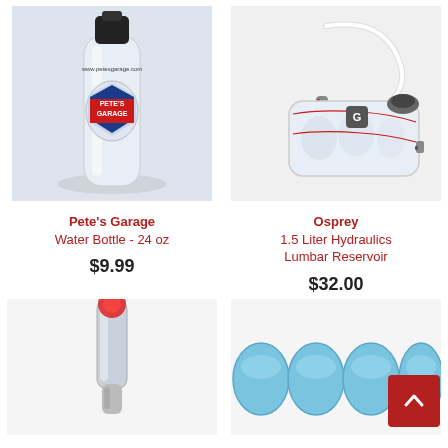[Figure (photo): Pete's Garage branded clear water bottle with black cap, featuring the Pete's Garage logo with red, white and blue shield design]
Pete's Garage
Water Bottle - 24 oz
$9.99
[Figure (photo): Osprey 1.5 Liter Hydraulics Lumbar Reservoir hydration bladder, white with red accents, with drinking tube attached]
Osprey
1.5 Liter Hydraulics Lumbar Reservoir
$32.00
[Figure (photo): Close-up of a hydration tube or valve with a red-tipped bite mouthpiece]
[Figure (photo): Blue translucent hydration capsules or water filter tablets]